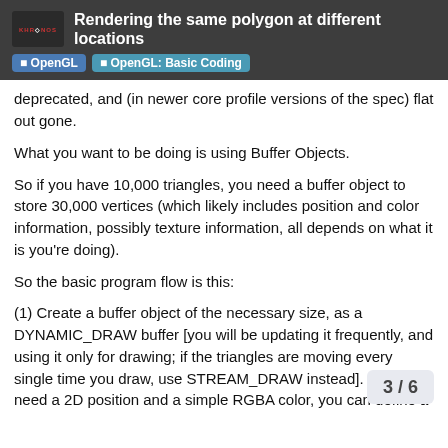Rendering the same polygon at different locations
deprecated, and (in newer core profile versions of the spec) flat out gone.
What you want to be doing is using Buffer Objects.
So if you have 10,000 triangles, you need a buffer object to store 30,000 vertices (which likely includes position and color information, possibly texture information, all depends on what it is you’re doing).
So the basic program flow is this:
(1) Create a buffer object of the necessary size, as a DYNAMIC_DRAW buffer [you will be updating it frequently, and using it only for drawing; if the triangles are moving every single time you draw, use STREAM_DRAW instead]. If you need a 2D position and a simple RGBA color, you can define a struct { float x; float y; unsigned int color; } and basically then you're just creating an array of 30,000 of those structs, but allocated on the GPU's memory instead of in your applicati
3 / 6